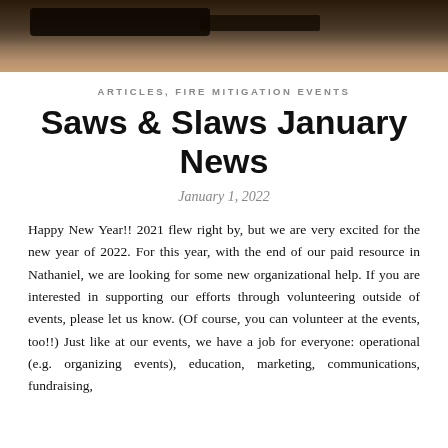[Figure (photo): Close-up photo of a chainsaw or cutting equipment against a background of dry grass/straw, dark tones]
ARTICLES, FIRE MITIGATION EVENTS
Saws & Slaws January News
January 1, 2022
Happy New Year!! 2021 flew right by, but we are very excited for the new year of 2022. For this year, with the end of our paid resource in Nathaniel, we are looking for some new organizational help. If you are interested in supporting our efforts through volunteering outside of events, please let us know. (Of course, you can volunteer at the events, too!!) Just like at our events, we have a job for everyone: operational (e.g. organizing events), education, marketing, communications, fundraising,